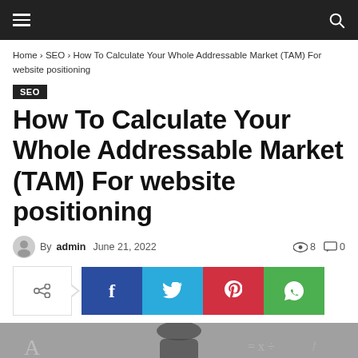Navigation bar with hamburger menu and search icon
Home › SEO › How To Calculate Your Whole Addressable Market (TAM) For website positioning
SEO
How To Calculate Your Whole Addressable Market (TAM) For website positioning
By admin   June 21, 2022   8   0
[Figure (screenshot): Social share buttons: share icon, Facebook, Twitter, Pinterest, WhatsApp]
[Figure (photo): Partial photo of a person in front of a chalkboard with math symbols]